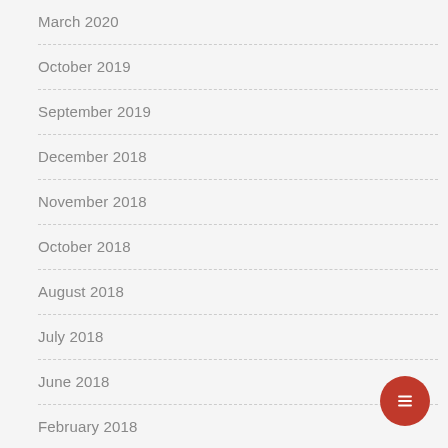March 2020
October 2019
September 2019
December 2018
November 2018
October 2018
August 2018
July 2018
June 2018
February 2018
October 2017
June 2017